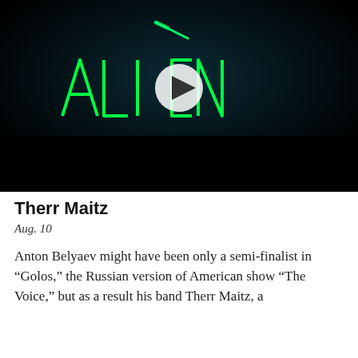[Figure (screenshot): Video thumbnail showing neon green 'ALIEN' text logo on dark background with a white play button triangle in the center. A small green comet or shooting star is visible above the lettering.]
Therr Maitz
Aug. 10
Anton Belyaev might have been only a semi-finalist in “Golos,” the Russian version of American show “The Voice,” but as a result his band Therr Maitz, a